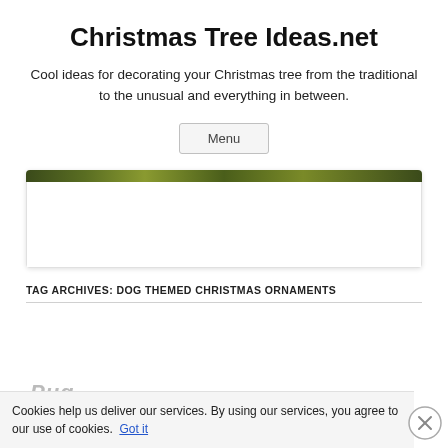Christmas Tree Ideas.net
Cool ideas for decorating your Christmas tree from the traditional to the unusual and everything in between.
Menu
[Figure (photo): Header image strip with dark green Christmas tree foliage texture at top, white content area below, with rounded corners and subtle shadow.]
TAG ARCHIVES: DOG THEMED CHRISTMAS ORNAMENTS
Cookies help us deliver our services. By using our services, you agree to our use of cookies. Got it